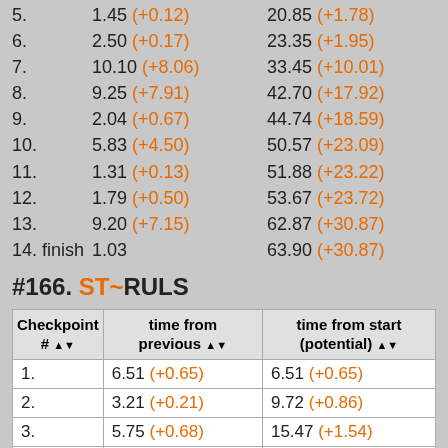5. 1.45 (+0.12) 20.85 (+1.78)
6. 2.50 (+0.17) 23.35 (+1.95)
7. 10.10 (+8.06) 33.45 (+10.01)
8. 9.25 (+7.91) 42.70 (+17.92)
9. 2.04 (+0.67) 44.74 (+18.59)
10. 5.83 (+4.50) 50.57 (+23.09)
11. 1.31 (+0.13) 51.88 (+23.22)
12. 1.79 (+0.50) 53.67 (+23.72)
13. 9.20 (+7.15) 62.87 (+30.87)
14. finish 1.03 63.90 (+30.87)
#166. ST~RULS
| Checkpoint # | time from previous | time from start (potential) |
| --- | --- | --- |
| 1. | 6.51 (+0.65) | 6.51 (+0.65) |
| 2. | 3.21 (+0.21) | 9.72 (+0.86) |
| 3. | 5.75 (+0.68) | 15.47 (+1.54) |
| 4. | 4.30 (+0.49) | 19.77 (+2.03) |
| 5. | 1.41 (+0.08) | 21.18 (+2.11) |